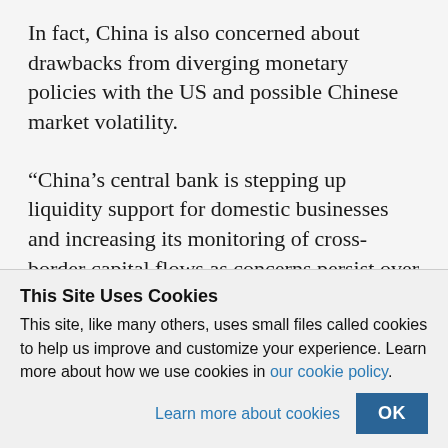In fact, China is also concerned about drawbacks from diverging monetary policies with the US and possible Chinese market volatility.
“China’s central bank is stepping up liquidity support for domestic businesses and increasing its monitoring of cross-border capital flows as concerns persist over the side effects of Washington’s
This Site Uses Cookies
This site, like many others, uses small files called cookies to help us improve and customize your experience. Learn more about how we use cookies in our cookie policy.
Learn more about cookies
OK